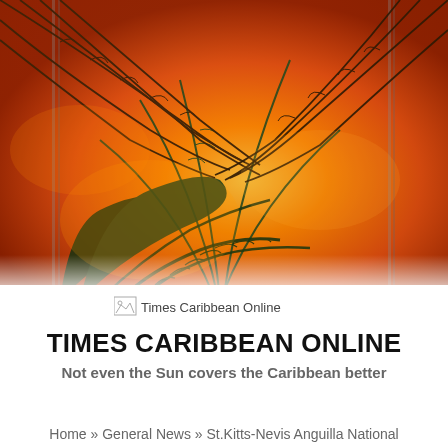[Figure (photo): Tropical palm tree fronds silhouetted against a vivid orange/golden sunset sky, viewed from below looking upward.]
[Figure (illustration): Times Caribbean Online logo image placeholder shown as broken image icon with alt text 'Times Caribbean Online']
TIMES CARIBBEAN ONLINE
Not even the Sun covers the Caribbean better
Home » General News » St.Kitts-Nevis Anguilla National